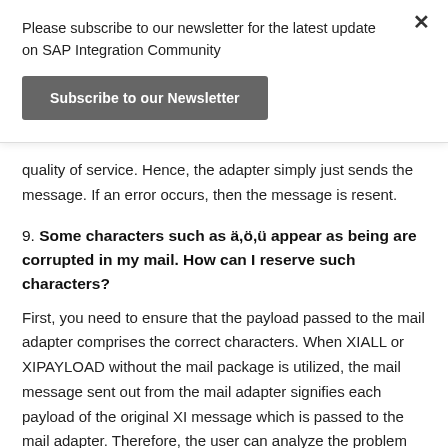Please subscribe to our newsletter for the latest update on SAP Integration Community
Subscribe to our Newsletter
quality of service. Hence, the adapter simply just sends the message. If an error occurs, then the message is resent.
9. Some characters such as ä,ö,ü appear as being are corrupted in my mail. How can I reserve such characters?
First, you need to ensure that the payload passed to the mail adapter comprises the correct characters. When XIALL or XIPAYLOAD without the mail package is utilized, the mail message sent out from the mail adapter signifies each payload of the original XI message which is passed to the mail adapter. Therefore, the user can analyze the problem